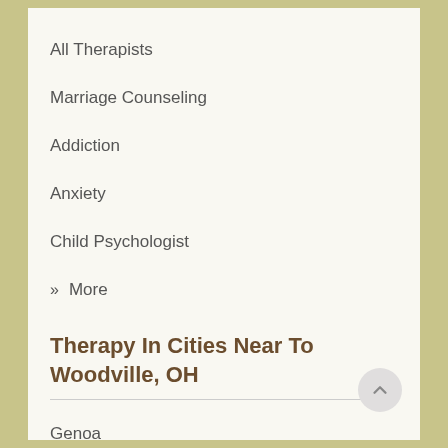All Therapists
Marriage Counseling
Addiction
Anxiety
Child Psychologist
» More
Therapy In Cities Near To Woodville, OH
Genoa
Gibsonburg